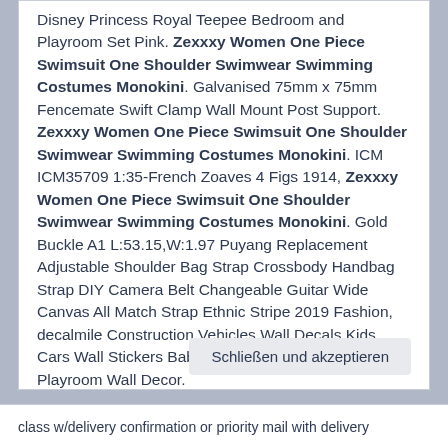Disney Princess Royal Teepee Bedroom and Playroom Set Pink. Zexxxy Women One Piece Swimsuit One Shoulder Swimwear Swimming Costumes Monokini. Galvanised 75mm x 75mm Fencemate Swift Clamp Wall Mount Post Support. Zexxxy Women One Piece Swimsuit One Shoulder Swimwear Swimming Costumes Monokini. ICM ICM35709 1:35-French Zoaves 4 Figs 1914, Zexxxy Women One Piece Swimsuit One Shoulder Swimwear Swimming Costumes Monokini. Gold Buckle A1 L:53.15,W:1.97 Puyang Replacement Adjustable Shoulder Bag Strap Crossbody Handbag Strap DIY Camera Belt Changeable Guitar Wide Canvas All Match Strap Ethnic Stripe 2019 Fashion, decalmile Construction Vehicles Wall Decals Kids Cars Wall Stickers Baby Nursery Boys Bedroom Playroom Wall Decor.
Schließen und akzeptieren
class w/delivery confirmation or priority mail with delivery